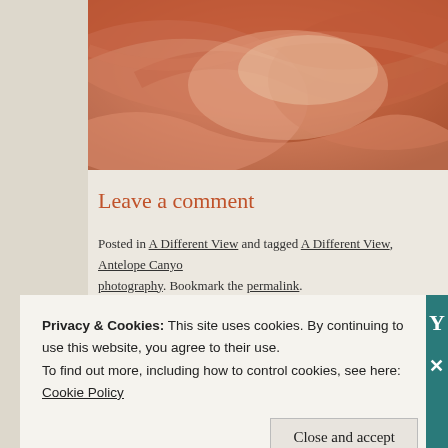[Figure (photo): Close-up photo of Antelope Canyon red sandstone rock formations, warm orange-pink tones]
Leave a comment
Posted in A Different View and tagged A Different View, Antelope Canyon, photography. Bookmark the permalink.
Privacy & Cookies: This site uses cookies. By continuing to use this website, you agree to their use. To find out more, including how to control cookies, see here: Cookie Policy
Close and accept